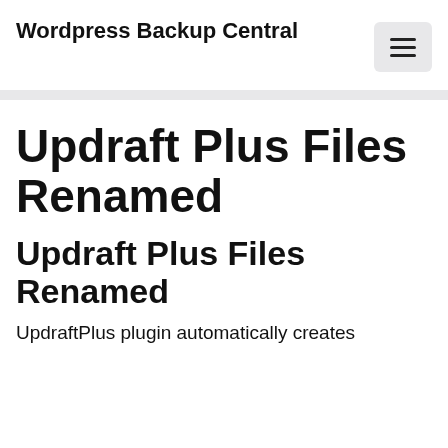Wordpress Backup Central
Updraft Plus Files Renamed
Updraft Plus Files Renamed
UpdraftPlus plugin automatically creates